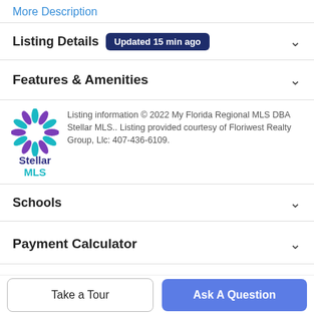More Description
Listing Details Updated 15 min ago
Features & Amenities
Listing information © 2022 My Florida Regional MLS DBA Stellar MLS.. Listing provided courtesy of Floriwest Realty Group, Llc: 407-436-6109.
[Figure (logo): Stellar MLS logo with teal and purple snowflake/star graphic and text 'Stellar MLS']
Schools
Payment Calculator
Contact Agent
Take a Tour
Ask A Question